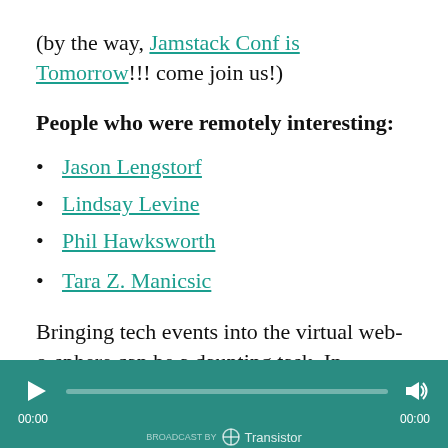(by the way, Jamstack Conf is Tomorrow!!! come join us!)
People who were remotely interesting:
Jason Lengstorf
Lindsay Levine
Phil Hawksworth
Tara Z. Manicsic
Bringing tech events into the virtual web-o-sphere can be a daunting task. In this episode, we talk about it...
[Figure (other): Audio player bar with play button, progress bar, time stamps 00:00 / 00:00, volume icon, and Transistor branding]